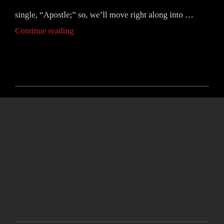single, “Apostle;” so, we’ll move right along into …
Continue reading
Search …
SEARCH
BLOG AT WORDPRESS.COM.